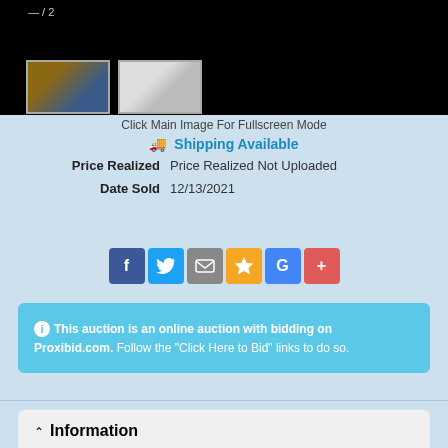[Figure (photo): Black image viewer area showing thumbnail images of an auction item (mouse/electronics in packaging), with page counter '— / 2']
Click Main Image For Fullscreen Mode
🚚 Shipping Available
| Price Realized | Price Realized Not Uploaded |
| Date Sold | 12/13/2021 |
[Figure (infographic): Row of social sharing buttons: Facebook (F), Twitter (bird), Email (envelope), Favorites (star), Google (G), Add (+)]
ℹ This auction is an online auction with bidding on Proxibid.com. Follow the "Click Here to Bid" links to do so.
^ Information